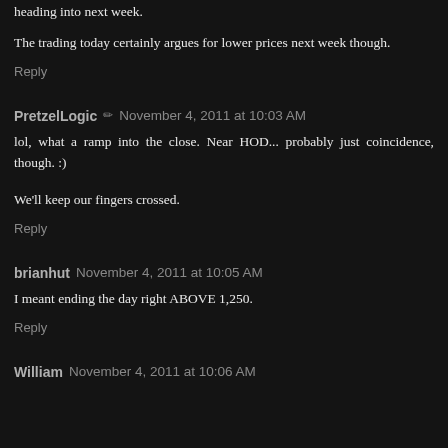heading into next week.
The trading today certainly argues for lower prices next week though.
Reply
PretzelLogic ✏ November 4, 2011 at 10:03 AM
lol, what a ramp into the close. Near HOD... probably just coincidence, though. :)
We'll keep our fingers crossed.
Reply
brianhut November 4, 2011 at 10:05 AM
I meant ending the day right ABOVE 1,250.
Reply
William November 4, 2011 at 10:06 AM